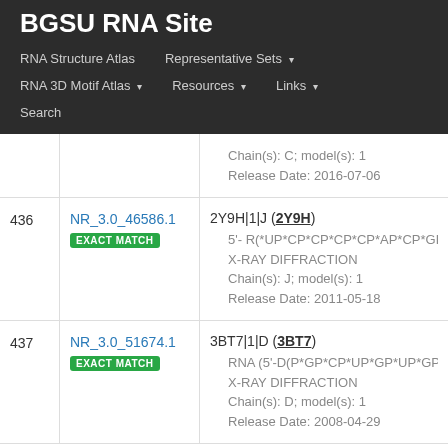BGSU RNA Site
RNA Structure Atlas | Representative Sets | RNA 3D Motif Atlas | Resources | Links | Search
| # | ID | Description |
| --- | --- | --- |
|  |  | Chain(s): C; model(s): 1 | Release Date: 2016-07-06 |
| 436 | NR_3.0_46586.1 EXACT MATCH | 2Y9H|1|J (2Y9H) • 5'- R(*UP*CP*CP*CP*CP*AP*CP*GP*CP*G • X-RAY DIFFRACTION • Chain(s): J; model(s): 1 • Release Date: 2011-05-18 |
| 437 | NR_3.0_51674.1 EXACT MATCH | 3BT7|1|D (3BT7) • RNA (5'-D(P*GP*CP*UP*GP*UP*GP*(5M • X-RAY DIFFRACTION • Chain(s): D; model(s): 1 • Release Date: 2008-04-29 |